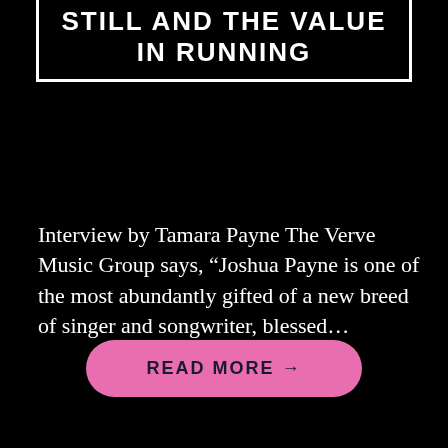STILL AND THE VALUE IN RUNNING
Interview by Tamara Payne The Verve Music Group says, “Joshua Payne is one of the most abundantly gifted of a new breed of singer and songwriter, blessed…
READ MORE →